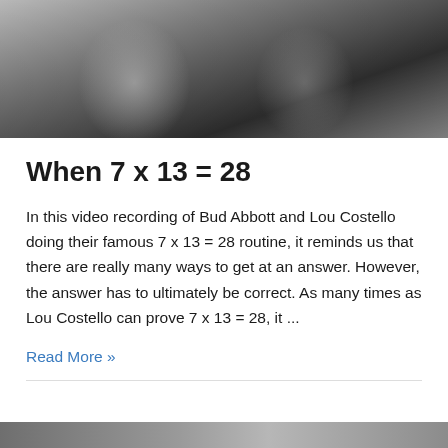[Figure (photo): Black and white photo of two men (Bud Abbott and Lou Costello) posing together, both smiling/looking at camera, wearing suits]
When 7 x 13 = 28
In this video recording of Bud Abbott and Lou Costello doing their famous 7 x 13 = 28 routine, it reminds us that there are really many ways to get at an answer. However, the answer has to ultimately be correct. As many times as Lou Costello can prove 7 x 13 = 28, it ...
Read More »
[Figure (photo): Partial view of another photo at bottom of page]